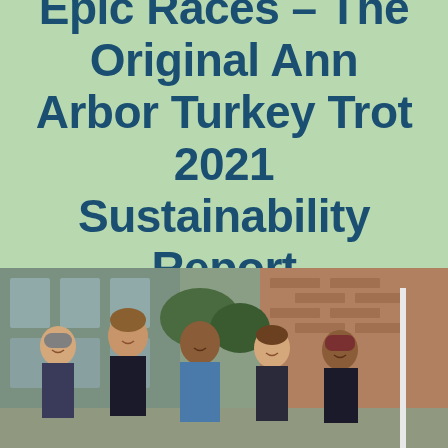Epic Races – The Original Ann Arbor Turkey Trot 2021 Sustainability Report
[Figure (photo): Group photo of five smiling young people (students/volunteers) outdoors in winter clothing including hats and jackets, standing in front of a brick building. One person on the right is holding a white pole or flag.]